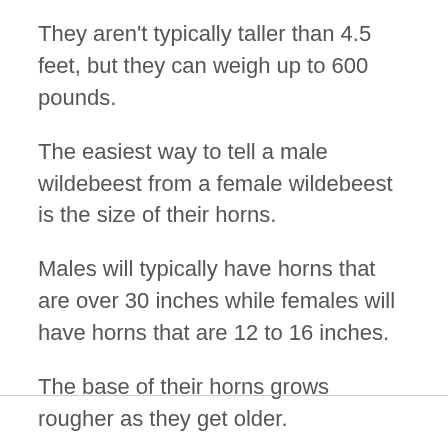They aren’t typically taller than 4.5 feet, but they can weigh up to 600 pounds.
The easiest way to tell a male wildebeest from a female wildebeest is the size of their horns.
Males will typically have horns that are over 30 inches while females will have horns that are 12 to 16 inches.
The base of their horns grows rougher as they get older.